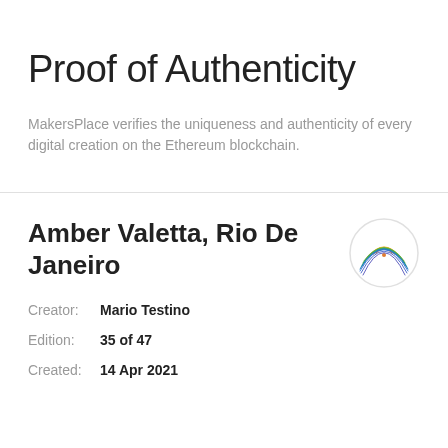Proof of Authenticity
MakersPlace verifies the uniqueness and authenticity of every digital creation on the Ethereum blockchain.
Amber Valetta, Rio De Janeiro
Creator: Mario Testino
Edition: 35 of 47
Created: 14 Apr 2021
[Figure (logo): Colorful fingerprint logo in a circle, with concentric arc lines in orange, yellow, green, and blue tones]